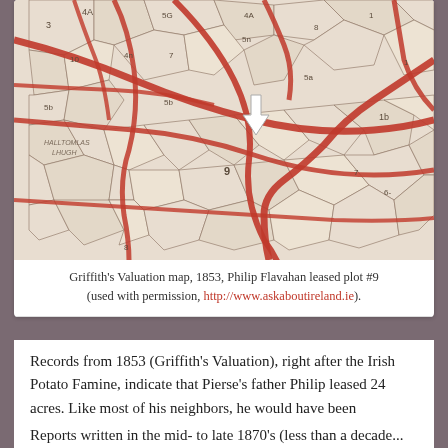[Figure (map): Griffith's Valuation map from 1853 showing land plots with red roads and plot numbers. A white arrow points to plot #9 in the center of the map.]
Griffith's Valuation map, 1853, Philip Flavahan leased plot #9 (used with permission, http://www.askaboutireland.ie).
Records from 1853 (Griffith's Valuation), right after the Irish Potato Famine, indicate that Pierse's father Philip leased 24 acres. Like most of his neighbors, he would have been considered a small farmer. We also know from later court records that he grew cabbage and barley, and it was likely that he grew potatoes and other vegetables as well.
Reports written in the mid- to late 1870's (less than a decade...